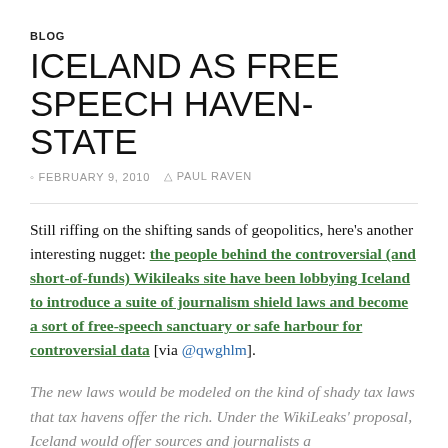BLOG
ICELAND AS FREE SPEECH HAVEN-STATE
FEBRUARY 9, 2010   PAUL RAVEN
Still riffing on the shifting sands of geopolitics, here's another interesting nugget: the people behind the controversial (and short-of-funds) Wikileaks site have been lobbying Iceland to introduce a suite of journalism shield laws and become a sort of free-speech sanctuary or safe harbour for controversial data [via @qwghlm].
The new laws would be modeled on the kind of shady tax laws that tax havens offer the rich. Under the WikiLeaks' proposal, Iceland would offer sources and journalists a